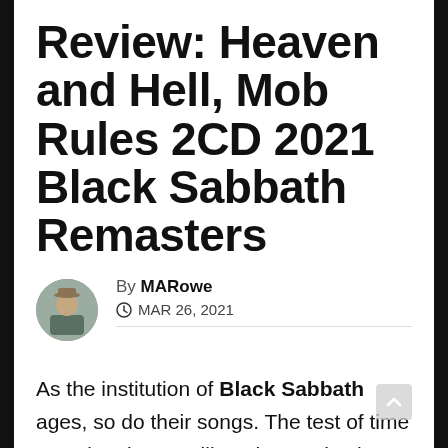Review: Heaven and Hell, Mob Rules 2CD 2021 Black Sabbath Remasters
By MARowe
MAR 26, 2021
As the institution of Black Sabbath ages, so do their songs. The test of time goes into how resilient the music, the sound, and the quality of the songs have held up over the decades. With